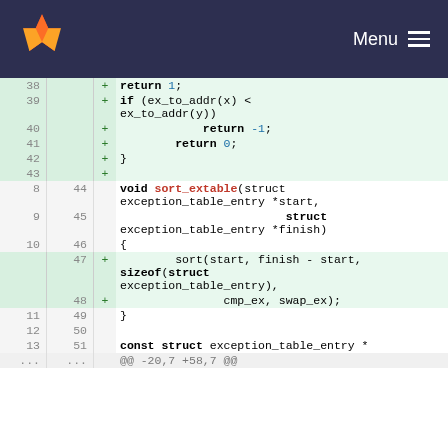GitLab - Menu
[Figure (screenshot): Code diff view showing a git diff with line numbers, added lines highlighted in green, showing C code for sort_extable function with exception_table_entry operations]
38 + return 1;
39 + if (ex_to_addr(x) < ex_to_addr(y))
40 + return -1;
41 + return 0;
42 + }
43 +
8 44 void sort_extable(struct exception_table_entry *start,
9 45 struct exception_table_entry *finish)
10 46 {
47 + sort(start, finish - start, sizeof(struct exception_table_entry), cmp_ex, swap_ex);
48 + cmp_ex, swap_ex);
11 49 }
12 50
13 51 const struct exception_table_entry *
... ... @@ -20,7 +58,7 @@